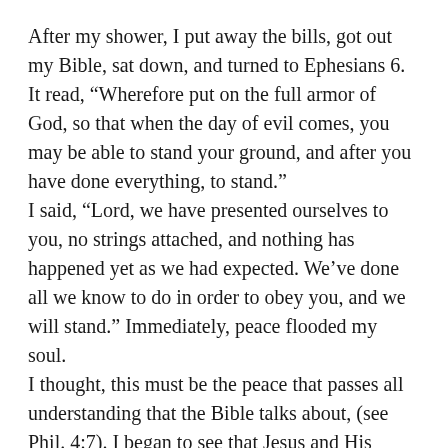After my shower, I put away the bills, got out my Bible, sat down, and turned to Ephesians 6. It read, “Wherefore put on the full armor of God, so that when the day of evil comes, you may be able to stand your ground, and after you have done everything, to stand.”
I said, “Lord, we have presented ourselves to you, no strings attached, and nothing has happened yet as we had expected. We’ve done all we know to do in order to obey you, and we will stand.” Immediately, peace flooded my soul.
I thought, this must be the peace that passes all understanding that the Bible talks about, (see Phil. 4:7). I began to see that Jesus and His Word truly are one and the same and that His Word is powerful. His living Word dispelled all fear and discouragement!
This was just the beginning of when I learned what it meant to